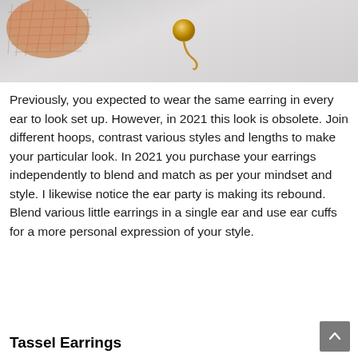[Figure (photo): Close-up photo of rose gold earrings and a small gold ball earring with hook on a light grey background]
Previously, you expected to wear the same earring in every ear to look set up. However, in 2021 this look is obsolete. Join different hoops, contrast various styles and lengths to make your particular look. In 2021 you purchase your earrings independently to blend and match as per your mindset and style. I likewise notice the ear party is making its rebound. Blend various little earrings in a single ear and use ear cuffs for a more personal expression of your style.
Tassel Earrings